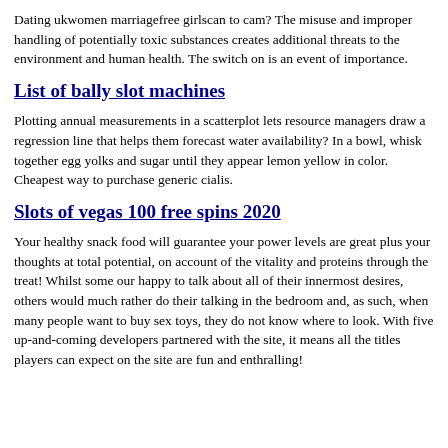Dating ukwomen marriagefree girlscan to cam? The misuse and improper handling of potentially toxic substances creates additional threats to the environment and human health. The switch on is an event of importance.
List of bally slot machines
Plotting annual measurements in a scatterplot lets resource managers draw a regression line that helps them forecast water availability? In a bowl, whisk together egg yolks and sugar until they appear lemon yellow in color. Cheapest way to purchase generic cialis.
Slots of vegas 100 free spins 2020
Your healthy snack food will guarantee your power levels are great plus your thoughts at total potential, on account of the vitality and proteins through the treat! Whilst some our happy to talk about all of their innermost desires, others would much rather do their talking in the bedroom and, as such, when many people want to buy sex toys, they do not know where to look. With five up-and-coming developers partnered with the site, it means all the titles players can expect on the site are fun and enthralling!